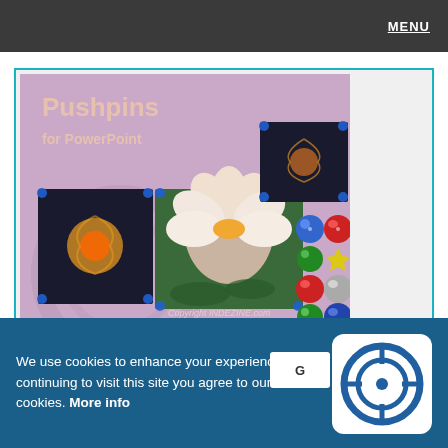MENU
[Figure (illustration): Pushpins for PowerPoint product image showing a pink/mauve background with various colorful pushpins (blue, red, green, yellow, silver), photos pinned with pushpins including a lotus flower and fractal/space images. Text reads 'Pushpins for PowerPoint' and 'Copyright INDEZINE.com']
We use cookies to enhance your experience. By continuing to visit this site you agree to our use of cookies. More info